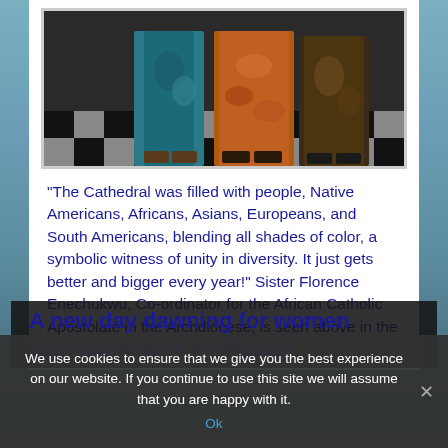[Figure (photo): Photo showing people in colorful traditional African attire standing on a black and white checkered floor]
“The Cathedral was filled with people, Native Americans, Africans, Asians, Europeans, and South Americans, blending all shades of color, a symbolic witness of unity in diversity.  It just gets better and bigger every year!” Sister Florence Enechukwu, Co-ordinator for the African Catholic Apostolate in the Archdiocese, is seen above in the pictures with her many friends.
A new day dawning for women who have been trafficked
We use cookies to ensure that we give you the best experience on our website. If you continue to use this site we will assume that you are happy with it.
Ok